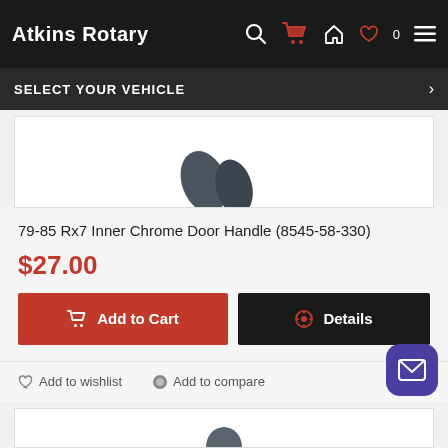Atkins Rotary
SELECT YOUR VEHICLE
[Figure (photo): Partial product image showing a dark chrome door handle piece against white background]
79-85 Rx7 Inner Chrome Door Handle (8545-58-330)
$27.00
Add to Cart
Details
Add to wishlist
Add to compare
[Figure (photo): Partial view of next product image at bottom of page]